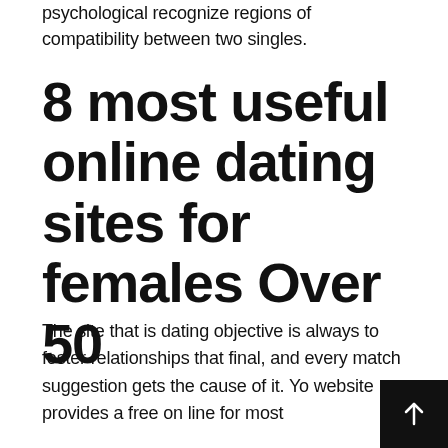psychological recognize regions of compatibility between two singles.
8 most useful online dating sites for females Over 50
The site that is dating objective is always to foster relationships that final, and every match suggestion gets the cause of it. Yo website provides a free on line for most